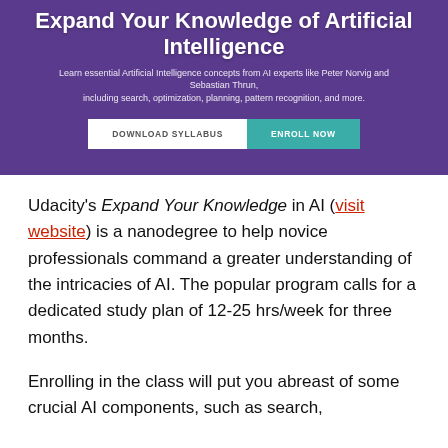[Figure (screenshot): Udacity banner with purple background showing 'Expand Your Knowledge of Artificial Intelligence' heading, subtitle text about AI experts Peter Norvig and Sebastian Thrun, and two buttons: DOWNLOAD SYLLABUS and ENROLL NOW]
Udacity's Expand Your Knowledge in AI (visit website) is a nanodegree to help novice professionals command a greater understanding of the intricacies of AI. The popular program calls for a dedicated study plan of 12-25 hrs/week for three months.
Enrolling in the class will put you abreast of some crucial AI components, such as search,